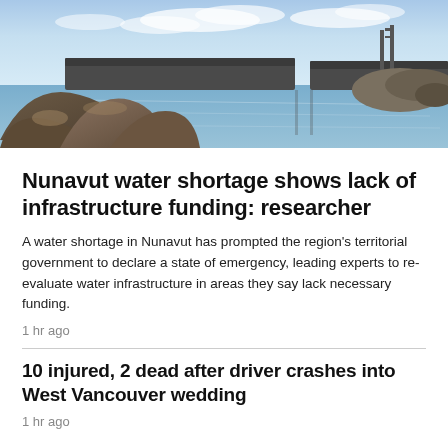[Figure (photo): Aerial or ground-level photo of a water dam/reservoir infrastructure with rocky foreground, calm blue water, concrete barrier structures, and blue sky with clouds in Nunavut.]
Nunavut water shortage shows lack of infrastructure funding: researcher
A water shortage in Nunavut has prompted the region's territorial government to declare a state of emergency, leading experts to re-evaluate water infrastructure in areas they say lack necessary funding.
1 hr ago
10 injured, 2 dead after driver crashes into West Vancouver wedding
1 hr ago